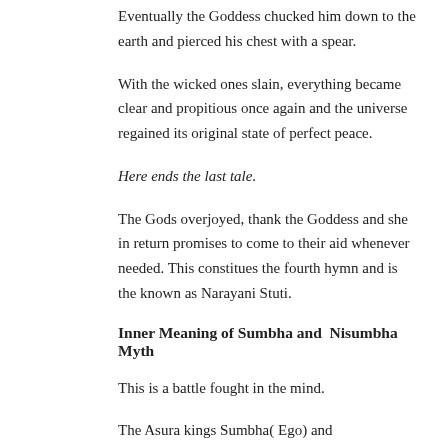Eventually the Goddess chucked him down to the earth and pierced his chest with a spear.
With the wicked ones slain, everything became clear and propitious once again and the universe regained its original state of perfect peace.
Here ends the last tale.
The Gods overjoyed, thank the Goddess and she in return promises to come to their aid whenever needed. This constitues the fourth hymn and is the known as Narayani Stuti.
Inner Meaning of Sumbha and  Nisumbha Myth
This is a battle fought in the mind.
The Asura kings Sumbha( Ego) and Nisumbha(attachment) along with their generals